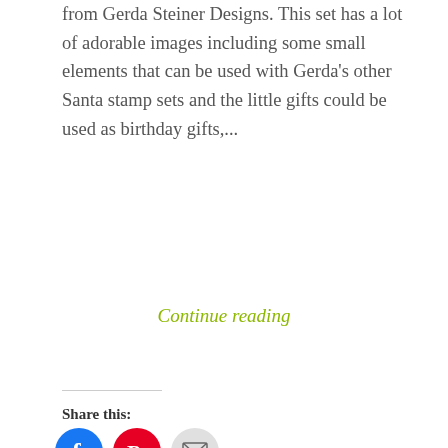from Gerda Steiner Designs. This set has a lot of adorable images including some small elements that can be used with Gerda's other Santa stamp sets and the little gifts could be used as birthday gifts,...
Continue reading
Share this:
[Figure (other): Social share buttons: Facebook (blue circle), Pinterest (red circle with 628 badge), Email (grey circle with envelope icon)]
Like this:
Loading...